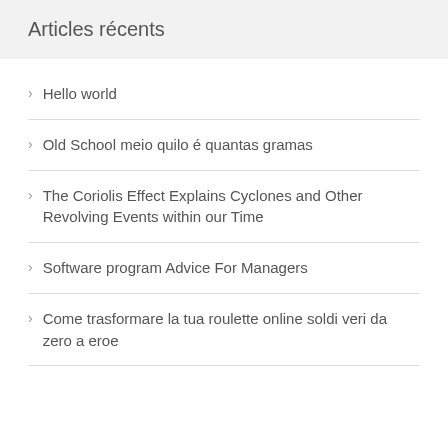Articles récents
Hello world
Old School meio quilo é quantas gramas
The Coriolis Effect Explains Cyclones and Other Revolving Events within our Time
Software program Advice For Managers
Come trasformare la tua roulette online soldi veri da zero a eroe